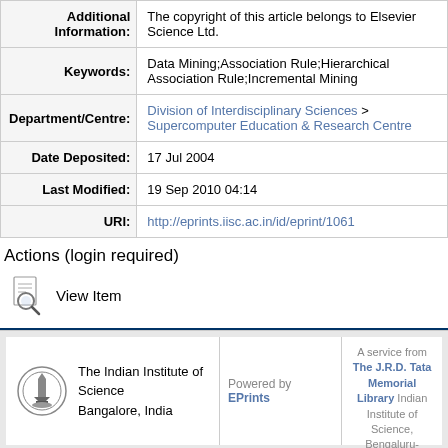| Field | Value |
| --- | --- |
| Additional Information: | The copyright of this article belongs to Elsevier Science Ltd. |
| Keywords: | Data Mining;Association Rule;Hierarchical Association Rule;Incremental Mining |
| Department/Centre: | Division of Interdisciplinary Sciences > Supercomputer Education & Research Centre |
| Date Deposited: | 17 Jul 2004 |
| Last Modified: | 19 Sep 2010 04:14 |
| URI: | http://eprints.iisc.ac.in/id/eprint/1061 |
Actions (login required)
[Figure (illustration): View Item icon - document with magnifying glass]
View Item
[Figure (logo): The Indian Institute of Science logo]
The Indian Institute of Science
Bangalore, India
Powered by EPrints
A service from The J.R.D. Tata Memorial Library Indian Institute of Science, Bengaluru-560012, India